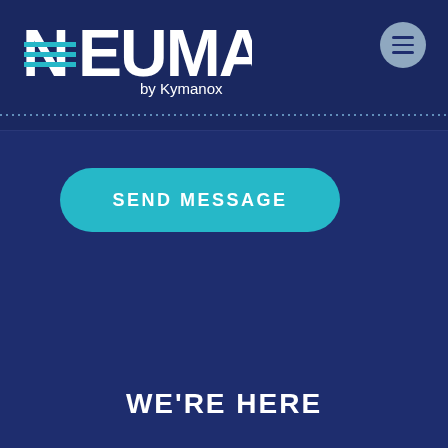[Figure (logo): NEUMA by Kymanox logo with stylized N formed by horizontal lines, white text on dark navy background, with dotted line below]
[Figure (other): Circular menu button with three horizontal lines, gray-blue background, top right corner]
SEND MESSAGE
WE'RE HERE